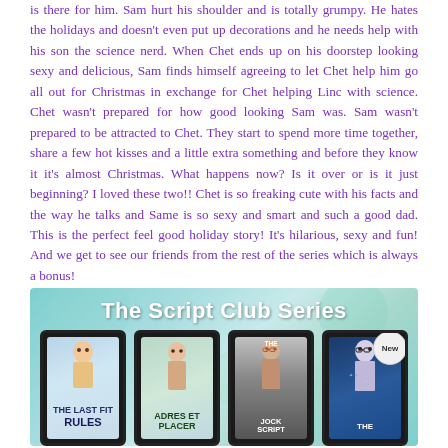is there for him. Sam hurt his shoulder and is totally grumpy. He hates the holidays and doesn't even put up decorations and he needs help with his son the science nerd. When Chet ends up on his doorstep looking sexy and delicious, Sam finds himself agreeing to let Chet help him go all out for Christmas in exchange for Chet helping Linc with science. Chet wasn't prepared for how good looking Sam was. Sam wasn't prepared to be attracted to Chet. They start to spend more time together, share a few hot kisses and a little extra something and before they know it it's almost Christmas. What happens now? Is it over or is it just beginning? I loved these two!! Chet is so freaking cute with his facts and the way he talks and Same is so sexy and smart and such a good dad. This is the perfect feel good holiday story! It's hilarious, sexy and fun! And we get to see our friends from the rest of the series which is always a bonus!
[Figure (illustration): Promotional image for 'The Script Club Series' showing four e-reader tablets displaying book covers: Rules, another title, The Jock Script, and a fourth book marked New.]